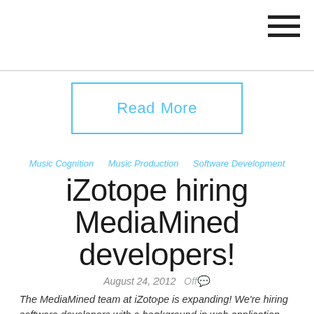Read More
Music Cognition   Music Production   Software Development
iZotope hiring MediaMined developers!
August 24, 2012   Off
The MediaMined team at iZotope is expanding! We're hiring software developers with a background in web application development. If you are a LAMP rockstar and care deeply about music, we'd love to hear from you!